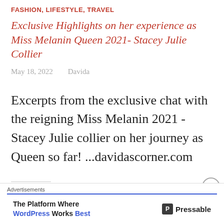FASHION, LIFESTYLE, TRAVEL
Exclusive Highlights on her experience as Miss Melanin Queen 2021- Stacey Julie Collier
May 18, 2022    Davida
Excerpts from the exclusive chat with the reigning Miss Melanin 2021 - Stacey Julie collier on her journey as Queen so far! ...davidascorner.com
Advertisements
The Platform Where WordPress Works Best   Pressable